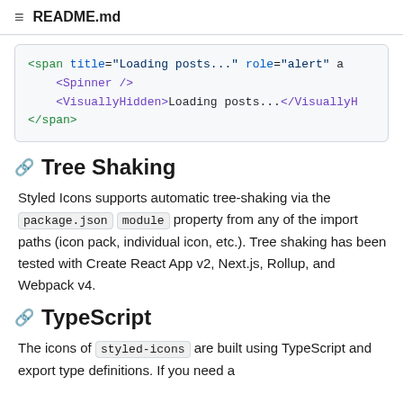README.md
<span title="Loading posts..." role="alert" a
    <Spinner />
    <VisuallyHidden>Loading posts...</VisuallyH
</span>
Tree Shaking
Styled Icons supports automatic tree-shaking via the package.json module property from any of the import paths (icon pack, individual icon, etc.). Tree shaking has been tested with Create React App v2, Next.js, Rollup, and Webpack v4.
TypeScript
The icons of styled-icons are built using TypeScript and export type definitions. If you need a